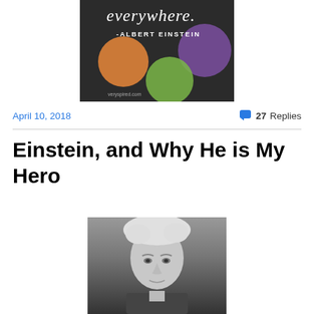[Figure (illustration): Dark background inspirational quote image with colorful circles (orange, green, purple) and text 'everywhere. -ALBERT EINSTEIN' with veryspired.com watermark]
April 10, 2018
27 Replies
Einstein, and Why He is My Hero
[Figure (photo): Black and white photograph of Albert Einstein, showing his face and wild white hair, looking slightly upward]